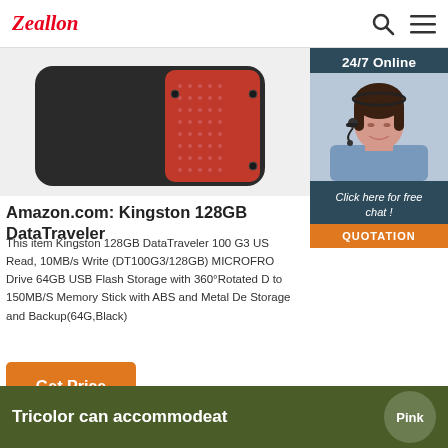Zeallon
[Figure (photo): Product photo of a Kingston USB flash drive - black and red device]
[Figure (photo): Customer service agent widget with '24/7 Online' label, photo of woman with headset, 'Click here for free chat!' text and QUOTATION button]
Amazon.com: Kingston 128GB DataTraveler
This item Kingston 128GB DataTraveler 100 G3 US Read, 10MB/s Write (DT100G3/128GB) MICROFRO Drive 64GB USB Flash Storage with 360°Rotated D to 150MB/S Memory Stick with ABS and Metal De Storage and Backup(64G,Black)
Get Price
Tricolor can accommodeat
Pink